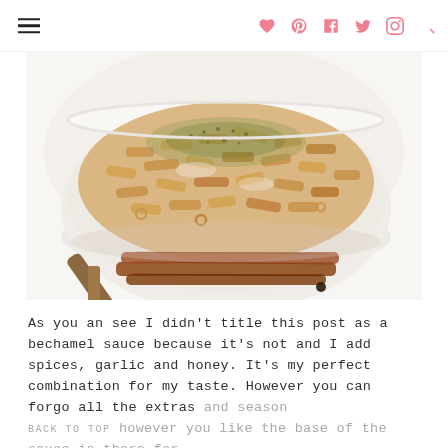≡ ♥ P f 𝕥 📷 🔍
[Figure (photo): A white bowl filled with penne pasta in a creamy sauce, garnished with herbs and spices, resting on wooden utensils and cinnamon sticks on a white background.]
As you an see I didn't title this post as a bechamel sauce because it's not and I add spices, garlic and honey. It's my perfect combination for my taste. However you can forgo all the extras and season however you like the base of the sauce is there for you to add your personal touch.